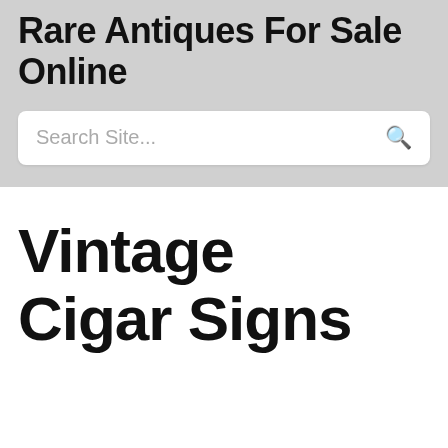Rare Antiques For Sale Online
Search Site...
Vintage Cigar Signs